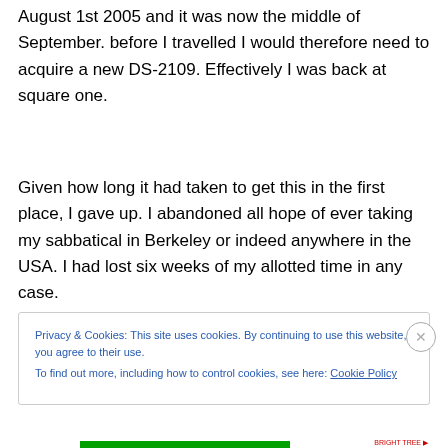August 1st 2005 and it was now the middle of September. before I travelled I would therefore need to acquire a new DS-2109. Effectively I was back at square one.
Given how long it had taken to get this in the first place, I gave up. I abandoned all hope of ever taking my sabbatical in Berkeley or indeed anywhere in the USA. I had lost six weeks of my allotted time in any case.
Privacy & Cookies: This site uses cookies. By continuing to use this website, you agree to their use.
To find out more, including how to control cookies, see here: Cookie Policy
Close and accept